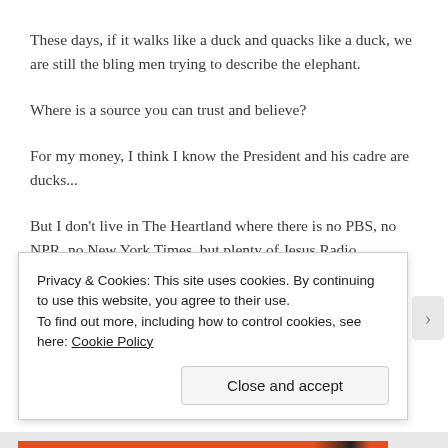These days, if it walks like a duck and quacks like a duck, we are still the bling men trying to describe the elephant.
Where is a source you can trust and believe?
For my money, I think I know the President and his cadre are ducks...
But I don't live in The Heartland where there is no PBS, no NPR, no New York Times, but plenty of Jesus Radio,
Privacy & Cookies: This site uses cookies. By continuing to use this website, you agree to their use.
To find out more, including how to control cookies, see here: Cookie Policy
Close and accept